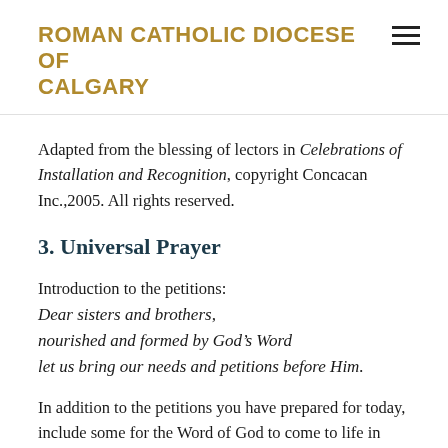ROMAN CATHOLIC DIOCESE OF CALGARY
Adapted from the blessing of lectors in Celebrations of Installation and Recognition, copyright Concacan Inc.,2005. All rights reserved.
3. Universal Prayer
Introduction to the petitions:
Dear sisters and brothers,
nourished and formed by God’s Word
let us bring our needs and petitions before Him.
In addition to the petitions you have prepared for today, include some for the Word of God to come to life in your community, for example: